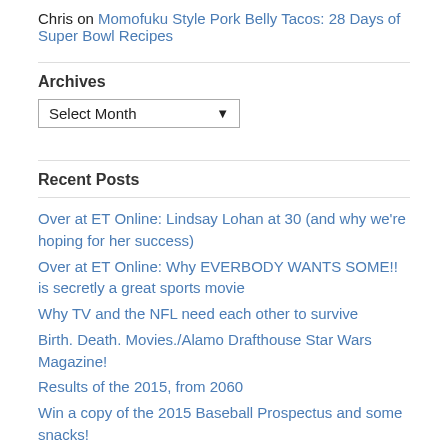Chris on Momofuku Style Pork Belly Tacos: 28 Days of Super Bowl Recipes
Archives
Select Month
Recent Posts
Over at ET Online: Lindsay Lohan at 30 (and why we're hoping for her success)
Over at ET Online: Why EVERBODY WANTS SOME!! is secretly a great sports movie
Why TV and the NFL need each other to survive
Birth. Death. Movies./Alamo Drafthouse Star Wars Magazine!
Results of the 2015, from 2060
Win a copy of the 2015 Baseball Prospectus and some snacks!
Welcome to Sportadically
Goodbye to the MLB Fan Cave
2015 Baseball Prospectus!
Brought a gun to a football fight
List: Movies Jon Gruden Should Star In The Remake Of